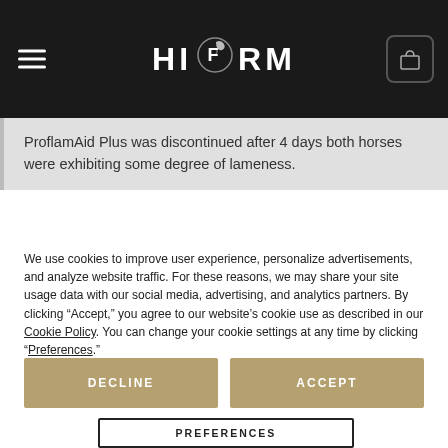HI FORM
ProflamAid Plus was discontinued after 4 days both horses were exhibiting some degree of lameness.
We use cookies to improve user experience, personalize advertisements, and analyze website traffic. For these reasons, we may share your site usage data with our social media, advertising, and analytics partners. By clicking “Accept,” you agree to our website’s cookie use as described in our Cookie Policy. You can change your cookie settings at any time by clicking “Preferences.”
DECLINE
ACCEPT
PREFERENCES